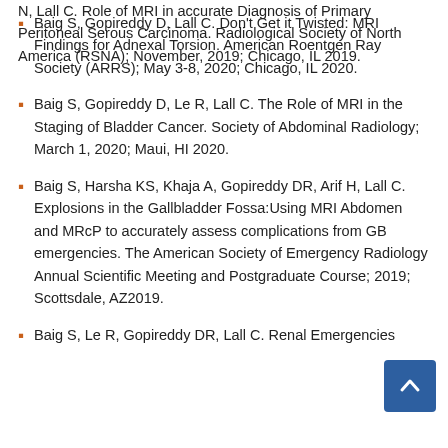N, Lall C. Role of MRI in accurate Diagnosis of Primary Peritoneal Serous Carcinoma. Radiological Society of North America (RSNA); November, 2019; Chicago, IL 2019.
Baig S, Gopireddy D, Lall C. Don't Get it Twisted: MRI Findings for Adnexal Torsion. American Roentgen Ray Society (ARRS); May 3-8, 2020; Chicago, IL 2020.
Baig S, Gopireddy D, Le R, Lall C. The Role of MRI in the Staging of Bladder Cancer. Society of Abdominal Radiology; March 1, 2020; Maui, HI 2020.
Baig S, Harsha KS, Khaja A, Gopireddy DR, Arif H, Lall C. Explosions in the Gallbladder Fossa:Using MRI Abdomen and MRcP to accurately assess complications from GB emergencies. The American Society of Emergency Radiology Annual Scientific Meeting and Postgraduate Course; 2019; Scottsdale, AZ2019.
Baig S, Le R, Gopireddy DR, Lall C. Renal Emergencies...